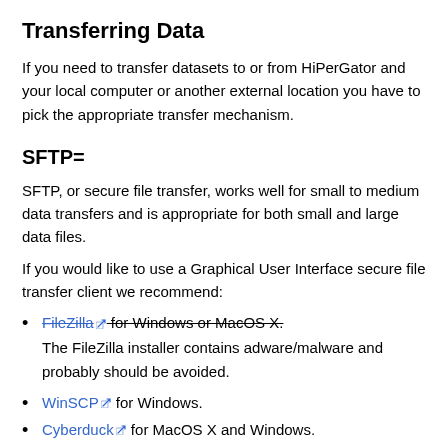Transferring Data
If you need to transfer datasets to or from HiPerGator and your local computer or another external location you have to pick the appropriate transfer mechanism.
SFTP=
SFTP, or secure file transfer, works well for small to medium data transfers and is appropriate for both small and large data files.
If you would like to use a Graphical User Interface secure file transfer client we recommend:
FileZilla for Windows or MacOS X. (strikethrough) The FileZilla installer contains adware/malware and probably should be avoided.
WinSCP for Windows.
Cyberduck for MacOS X and Windows.
After you have chosen and downloaded a client, configure the client to connect to hpg.rc.ufl.edu , specifying port number 22. Use your username and password to log in.